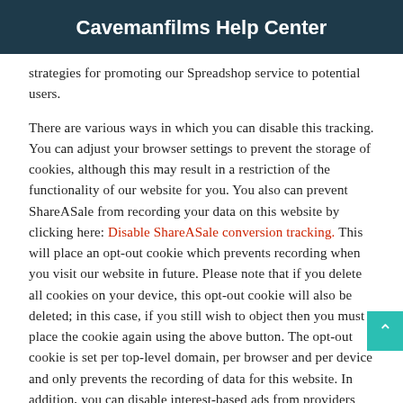Cavemanfilms Help Center
strategies for promoting our Spreadshop service to potential users.
There are various ways in which you can disable this tracking. You can adjust your browser settings to prevent the storage of cookies, although this may result in a restriction of the functionality of our website for you. You also can prevent ShareASale from recording your data on this website by clicking here: Disable ShareASale conversion tracking. This will place an opt-out cookie which prevents recording when you visit our website in future. Please note that if you delete all cookies on your device, this opt-out cookie will also be deleted; in this case, if you still wish to object then you must place the cookie again using the above button. The opt-out cookie is set per top-level domain, per browser and per device and only prevents the recording of data for this website. In addition, you can disable interest-based ads from providers who are part of the "YourAdChoices" self-regulation initiative (http://optout.aboutads.info/?c=2#!/) or e.g. part of the